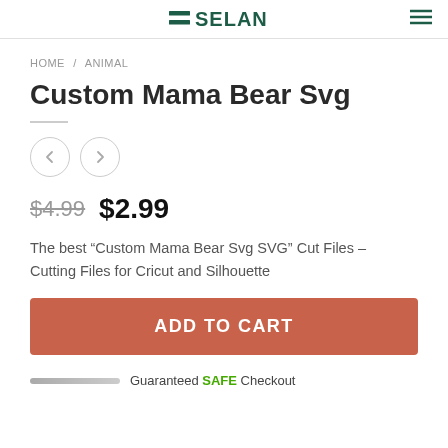SELAN (logo)
HOME / ANIMAL
Custom Mama Bear Svg
$4.99  $2.99
The best “Custom Mama Bear Svg SVG” Cut Files – Cutting Files for Cricut and Silhouette
ADD TO CART
Guaranteed SAFE Checkout